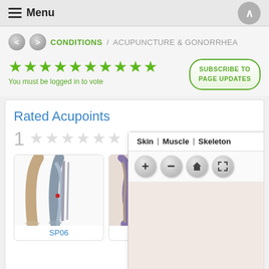Menu
CONDITIONS / ACUPUNCTURE & GONORRHEA
★★★★★★★★★★ You must be logged in to vote
SUBSCRIBE TO PAGE UPDATES
Rated Acupoints
1
[Figure (photo): Anatomical image of leg showing SP06 acupoint with skin and skeleton layers]
SP06
[Figure (screenshot): Interactive anatomy viewer panel showing Skin | Muscle | Skeleton tabs with zoom controls (+ - home expand) and a beige/tan body map area]